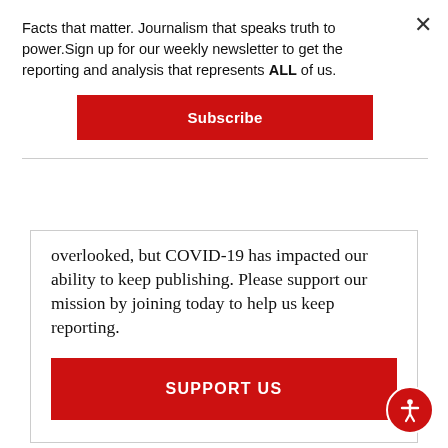Facts that matter. Journalism that speaks truth to power.Sign up for our weekly newsletter to get the reporting and analysis that represents ALL of us.
Subscribe
overlooked, but COVID-19 has impacted our ability to keep publishing. Please support our mission by joining today to help us keep reporting.
SUPPORT US
I don't know what our country is going to look like when this is all over. Will it be th